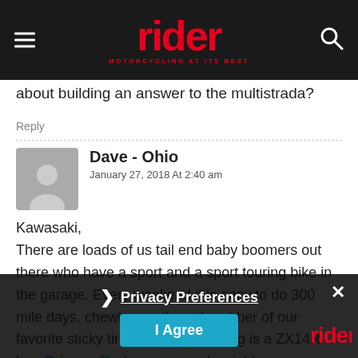rider — MOTORCYCLING AT ITS BEST
about building an answer to the multistrada?
Reply
Dave - Ohio
January 27, 2018 At 2:40 am
Kawasaki,

There are loads of us tail end baby boomers out there who have a sport and a sport touring bike in the garage. Every weekend it is easy to do 300 mile days, chewing up the side rubber of our favorite sticky tires. My sport touring is a ZX14R be… and weight … still most impo… me. What is missi… that application is the ability to attach ha…
Privacy Preferences
I Agree